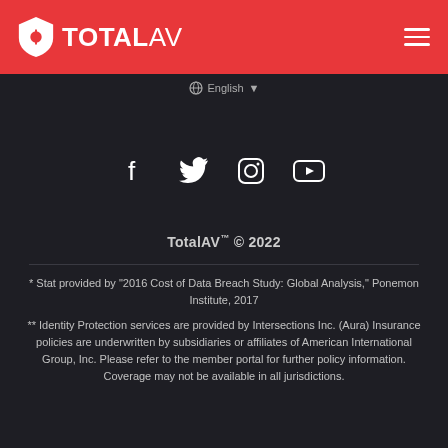TotalAV
[Figure (logo): TotalAV logo with shield icon and wordmark on red header bar]
[Figure (infographic): Social media icons: Facebook, Twitter, Instagram, YouTube]
TotalAV™ © 2022
* Stat provided by "2016 Cost of Data Breach Study: Global Analysis," Ponemon Institute, 2017
** Identity Protection services are provided by Intersections Inc. (Aura) Insurance policies are underwritten by subsidiaries or affiliates of American International Group, Inc. Please refer to the member portal for further policy information. Coverage may not be available in all jurisdictions.